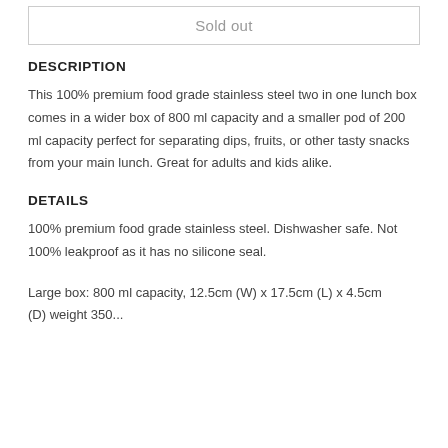Sold out
DESCRIPTION
This 100% premium food grade stainless steel two in one lunch box comes in a wider box of 800 ml capacity and a smaller pod of 200 ml capacity perfect for separating dips, fruits, or other tasty snacks from your main lunch. Great for adults and kids alike.
DETAILS
100% premium food grade stainless steel. Dishwasher safe. Not 100% leakproof as it has no silicone seal.
Large box: 800 ml capacity, 12.5cm (W) x 17.5cm (L) x 4.5cm (D) weight 350...